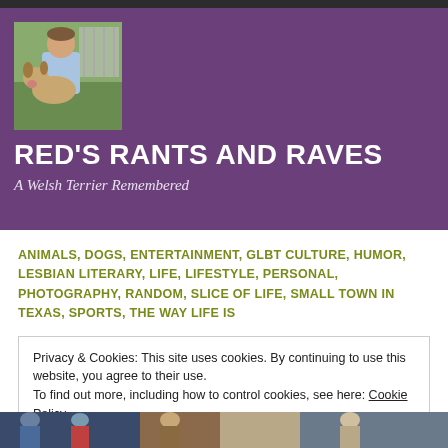[Figure (photo): Person holding a dog outdoors, photo in header area]
RED'S RANTS AND RAVES
A Welsh Terrier Remembered
ANIMALS, DOGS, ENTERTAINMENT, GLBT CULTURE, HUMOR, LESBIAN LITERARY, LIFE, LIFESTYLE, PERSONAL, PHOTOGRAPHY, RANDOM, SLICE OF LIFE, SMALL TOWN IN TEXAS, SPORTS, THE WAY LIFE IS
Privacy & Cookies: This site uses cookies. By continuing to use this website, you agree to their use.
To find out more, including how to control cookies, see here: Cookie Policy
[Figure (photo): Bottom image strip showing people, partially visible]